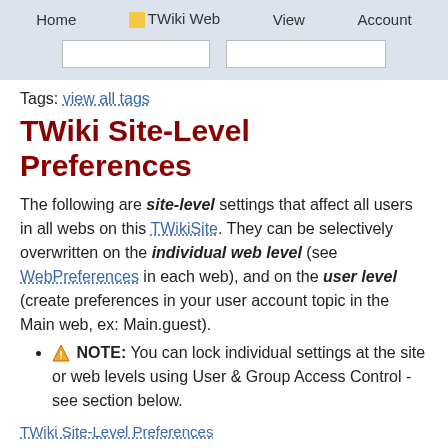Home  TWiki Web  View  Account
Tags: view all tags
TWiki Site-Level Preferences
The following are site-level settings that affect all users in all webs on this TWikiSite. They can be selectively overwritten on the individual web level (see WebPreferences in each web), and on the user level (create preferences in your user account topic in the Main web, ex: Main.guest).
NOTE: You can lock individual settings at the site or web levels using User & Group Access Control - see section below.
TWiki Site-Level Preferences
General Preferences: